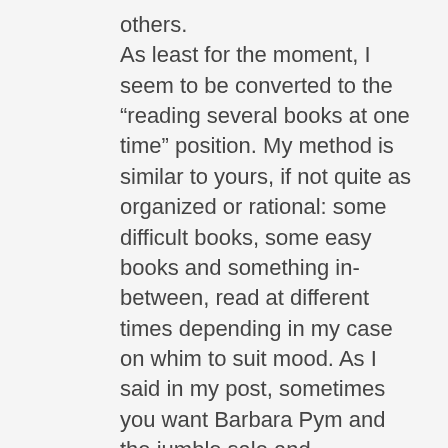others.
As least for the moment, I seem to be converted to the “reading several books at one time” position. My method is similar to yours, if not quite as organized or rational: some difficult books, some easy books and something in-between, read at different times depending in my case on whim to suit mood. As I said in my post, sometimes you want Barbara Pym and the jumble sale and sometimes it has to be Logen Nine-Fingers. What a boring world, if one just read the same thing endlessly!
I, too, have an enormous number of unread books but I’m afraid I use any excuse to add to Mount TBR. 2020 was especially ruinous in this respect. In addition to the pandemic, which meant much more time at home, I had